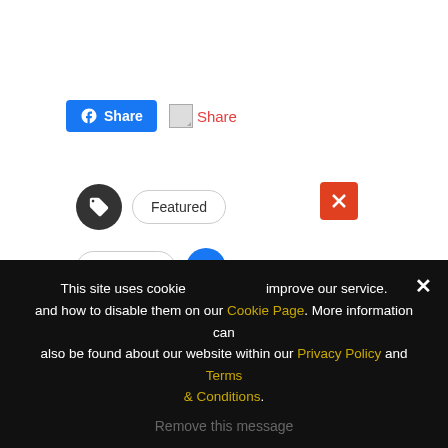[Figure (screenshot): Facebook Share button (blue) and a Share link with red text and broken image icon]
[Figure (screenshot): Tag icon button (dark circle), Featured pill badge, red X close button]
[Figure (screenshot): Share button with icon and a blue circle button]
[Figure (screenshot): Hologate video thumbnail showing woman in VR headset with play button overlay]
← PREV POST
Attractions Con...
This site uses cookies to improve our service. and how to disable them on our Cookie Page. More information can also be found about our website within our Privacy Policy and Terms & Conditions.
Remove this message